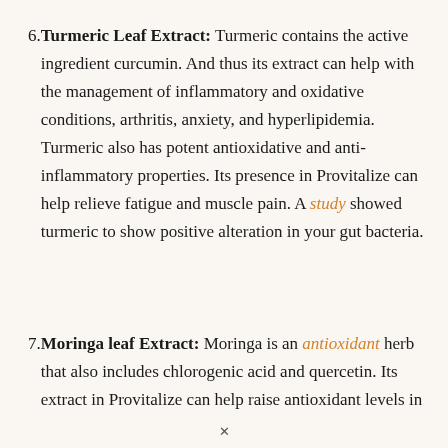6. Turmeric Leaf Extract: Turmeric contains the active ingredient curcumin. And thus its extract can help with the management of inflammatory and oxidative conditions, arthritis, anxiety, and hyperlipidemia. Turmeric also has potent antioxidative and anti-inflammatory properties. Its presence in Provitalize can help relieve fatigue and muscle pain. A study showed turmeric to show positive alteration in your gut bacteria.
7. Moringa leaf Extract: Moringa is an antioxidant herb that also includes chlorogenic acid and quercetin. Its extract in Provitalize can help raise antioxidant levels in